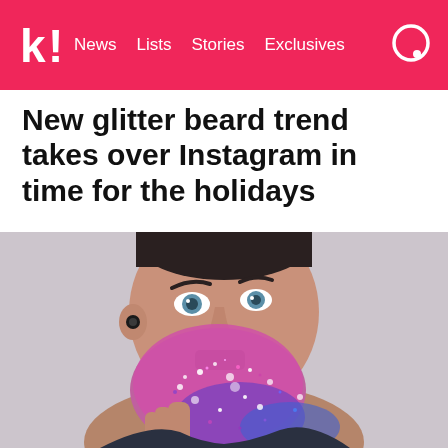k! News Lists Stories Exclusives
New glitter beard trend takes over Instagram in time for the holidays
[Figure (photo): A man with a sparkly glitter beard in pink and purple tones, looking upward, with his hand raised near his chin.]